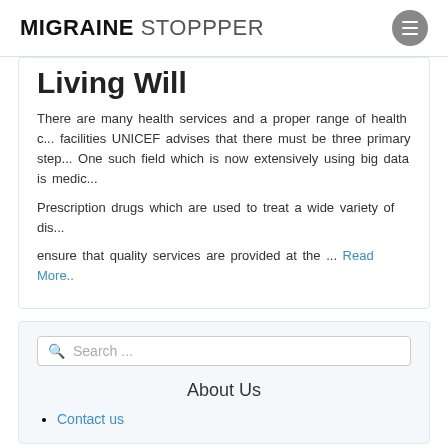MIGRAINE STOPPPER
Living Will
There are many health services and a proper range of health c... facilities UNICEF advises that there must be three primary step... One such field which is now extensively using big data is medic...
Prescription drugs which are used to treat a wide variety of dis...
ensure that quality services are provided at the ... Read More..
Search ...
About Us
Contact us